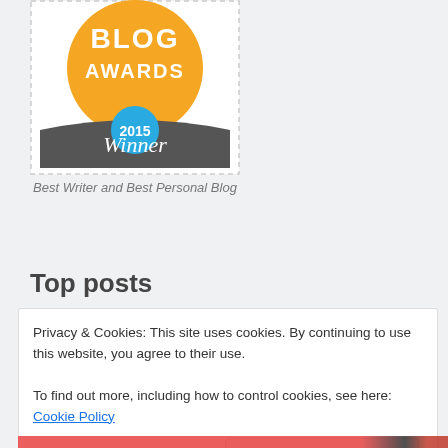[Figure (illustration): Blog Awards 2015 Winner badge: orange circle with 'BLOG AWARDS' text in white, blue circle with '2015', dark grey banner with 'Winner' in white script font.]
Best Writer and Best Personal Blog
Top posts
Privacy & Cookies: This site uses cookies. By continuing to use this website, you agree to their use.
To find out more, including how to control cookies, see here: Cookie Policy
Close and accept